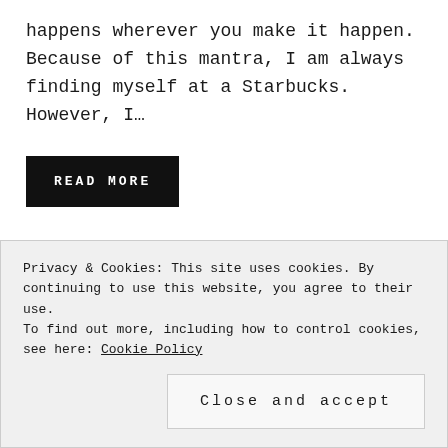happens wherever you make it happen. Because of this mantra, I am always finding myself at a Starbucks. However, I...
READ MORE
Privacy & Cookies: This site uses cookies. By continuing to use this website, you agree to their use. To find out more, including how to control cookies, see here: Cookie Policy
Close and accept